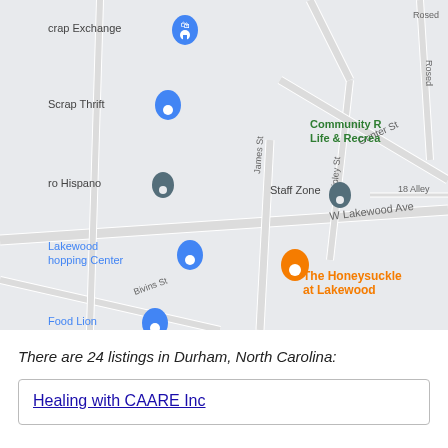[Figure (map): Google Maps screenshot showing Lakewood neighborhood in Durham, North Carolina. Visible landmarks include Scrap Exchange, Scrap Thrift, Centro Hispano, Lakewood Shopping Center, Food Lion, Staff Zone, The Honeysuckle at Lakewood (orange pin), Cocoa Cinnamon, Lakewood Avenue Children's School, Community Life & Recreation, YMCA. Streets visible: Gunter St, Ripley St, W Lakewood Ave, James St, Bivins St, 18 Alley.]
There are 24 listings in Durham, North Carolina:
Healing with CAARE Inc